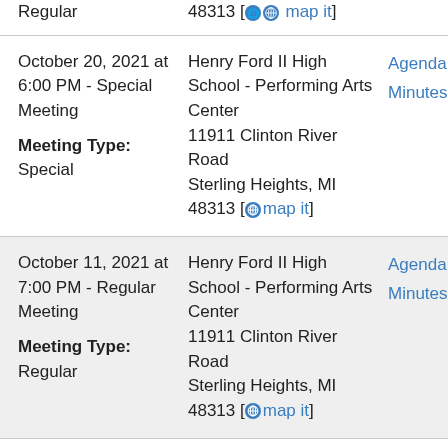Regular | Henry Ford II High School - Performing Arts Center, 11911 Clinton River Road, Sterling Heights, MI 48313 [map it] | Agenda Minutes
October 20, 2021 at 6:00 PM - Special Meeting | Meeting Type: Special | Henry Ford II High School - Performing Arts Center, 11911 Clinton River Road, Sterling Heights, MI 48313 [map it] | Agenda Minutes
October 11, 2021 at 7:00 PM - Regular Meeting | Meeting Type: Regular | Henry Ford II High School - Performing Arts Center, 11911 Clinton River Road, Sterling Heights, MI 48313 [map it] | Agenda Minutes
October ... Henry Ford II High ... Agenda ...